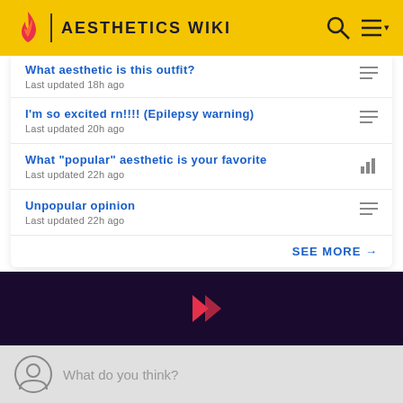AESTHETICS WIKI
What aesthetic is this outfit?
Last updated 18h ago
I'm so excited rn!!!! (Epilepsy warning)
Last updated 20h ago
What "popular" aesthetic is your favorite
Last updated 22h ago
Unpopular opinion
Last updated 22h ago
SEE MORE →
[Figure (logo): Fandom logo mark on dark background]
What do you think?